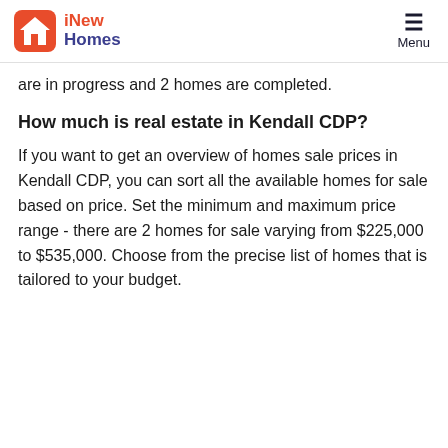iNew Homes | Menu
are in progress and 2 homes are completed.
How much is real estate in Kendall CDP?
If you want to get an overview of homes sale prices in Kendall CDP, you can sort all the available homes for sale based on price. Set the minimum and maximum price range - there are 2 homes for sale varying from $225,000 to $535,000. Choose from the precise list of homes that is tailored to your budget.